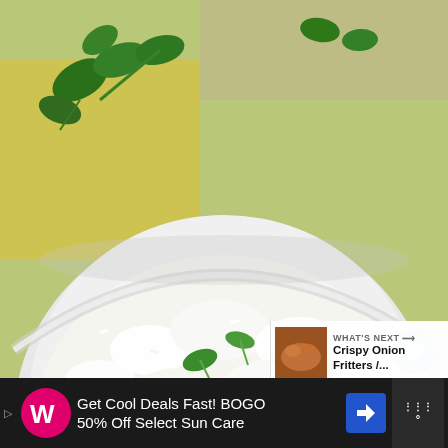[Figure (photo): Close-up photo of a white bowl filled with white rice mixed with chopped fresh cilantro/herbs, with a sprig of cilantro visible in the background on a yellow surface. UI overlay shows a teal heart/like button, count '2', and a share button.]
[Figure (infographic): WHAT'S NEXT overlay panel showing a thumbnail of crispy onion fritters and the text 'Crispy Onion Fritters /...']
[Figure (infographic): Advertisement bar at bottom: Walgreens ad 'Get Cool Deals Fast! BOGO 50% Off Select Sun Care']